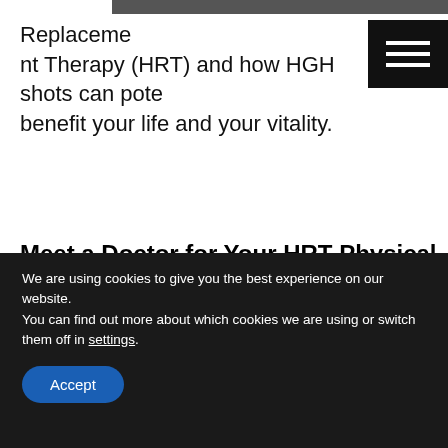[Figure (photo): Partial photo visible at top of page, appears to be a person]
Replacement Therapy (HRT) and how HGH shots can potentially benefit your life and your vitality.
Meet a Doctor for Your HRT Physical
If you feel like we're the right HRT Clinic for you, we will arrange for an appointment with a local physician in your area who will act as our liaison for your evaluation
We are using cookies to give you the best experience on our website.
You can find out more about which cookies we are using or switch them off in settings.
Accept